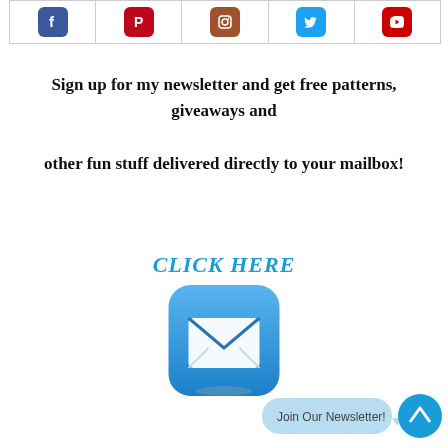[Figure (illustration): Row of five social media icon buttons (Facebook blue, Pinterest red, Instagram brown, Twitter light blue, YouTube red) in a bordered row at the top of the page]
Sign up for my newsletter and get free patterns, giveaways and other fun stuff delivered directly to your mailbox!
CLICK HERE
[Figure (illustration): Blue rounded-square mail/email icon button with a white envelope graphic]
[Figure (illustration): Small circular blue scroll-to-top button with upward arrow, and a 'Join Our Newsletter!' badge in light blue]
Join Our Newsletter!